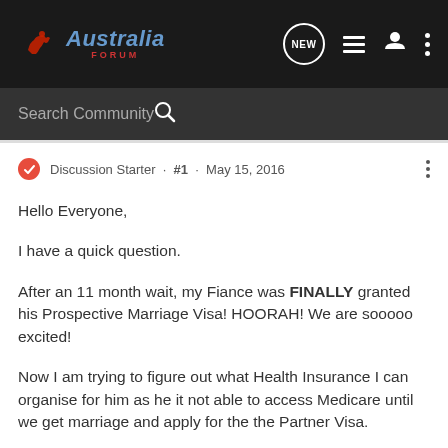Australia Forum · NEW · navigation icons
Search Community
Discussion Starter · #1 · May 15, 2016
Hello Everyone,

I have a quick question.

After an 11 month wait, my Fiance was FINALLY granted his Prospective Marriage Visa! HOORAH! We are sooooo excited!

Now I am trying to figure out what Health Insurance I can organise for him as he it not able to access Medicare until we get marriage and apply for the the Partner Visa.

Has anyone been in the same situation and can point me in the right direction? Many health insurance companies (like BUPA)